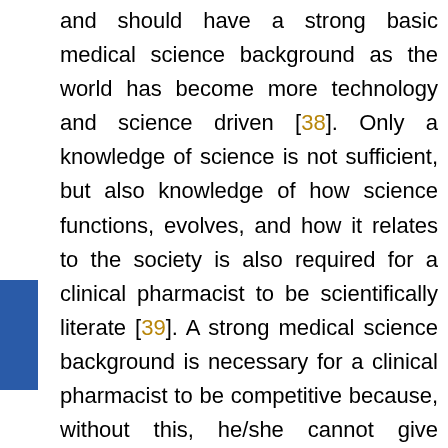and should have a strong basic medical science background as the world has become more technology and science driven [38]. Only a knowledge of science is not sufficient, but also knowledge of how science functions, evolves, and how it relates to the society is also required for a clinical pharmacist to be scientifically literate [39]. A strong medical science background is necessary for a clinical pharmacist to be competitive because, without this, he/she cannot give effective therapy. It is a necessary precondition for creativity and innovation as a clinical pharmacist can only be able to give better and effective or totally innovative treatment if he/she will have a strong background in medical sciences. Basic medical sciences include subjects of